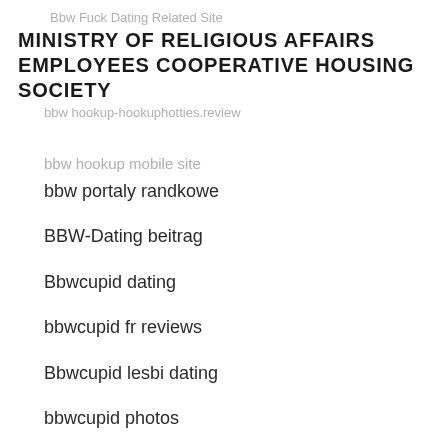Bbw Fuck Dating Related Site
MINISTRY OF RELIGIOUS AFFAIRS EMPLOYEES COOPERATIVE HOUSING SOCIETY
bbw hookup-hookuphotties.review
bbw hookup mobile site
bbw portaly randkowe
BBW-Dating beitrag
Bbwcupid dating
bbwcupid fr reviews
Bbwcupid lesbi dating
bbwcupid photos
bbwcupid review
BBWCupid visitors
bbwcupid-inceleme reviews